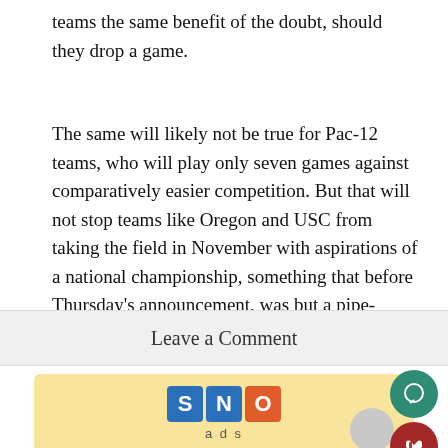teams the same benefit of the doubt, should they drop a game.
The same will likely not be true for Pac-12 teams, who will play only seven games against comparatively easier competition. But that will not stop teams like Oregon and USC from taking the field in November with aspirations of a national championship, something that before Thursday's announcement, was but a pipe-dream.
Leave a Comment
[Figure (logo): SNO ads logo on yellow background with person avatar]